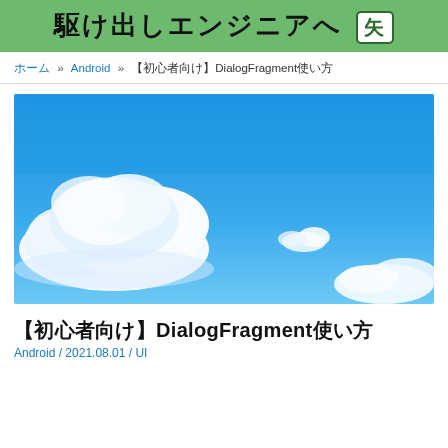駆け出しエンジニア [矢]
ホーム » Android » 【初心者向け】DialogFragmentの使い方
[Figure (photo): Blue sky with white cumulus clouds, bright daylight photo]
【初心者向け】DialogFragmentの使い方
Android / 2021.08.01 / UI